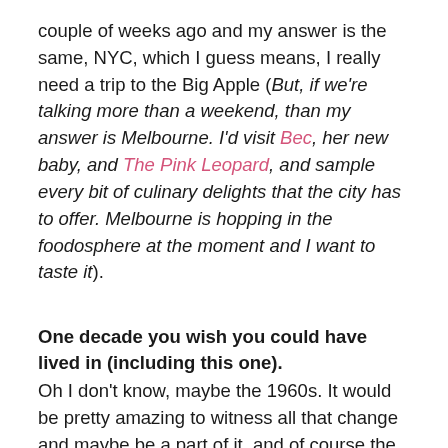couple of weeks ago and my answer is the same, NYC, which I guess means, I really need a trip to the Big Apple (But, if we're talking more than a weekend, than my answer is Melbourne. I'd visit Bec, her new baby, and The Pink Leopard, and sample every bit of culinary delights that the city has to offer. Melbourne is hopping in the foodosphere at the moment and I want to taste it).
One decade you wish you could have lived in (including this one).
Oh I don't know, maybe the 1960s. It would be pretty amazing to witness all that change and maybe be a part of it, and of course the fashion